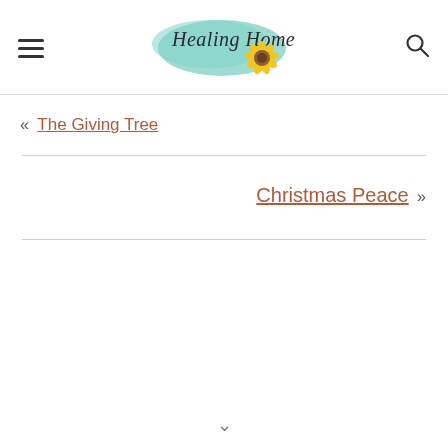Healing Home
« The Giving Tree
Christmas Peace »